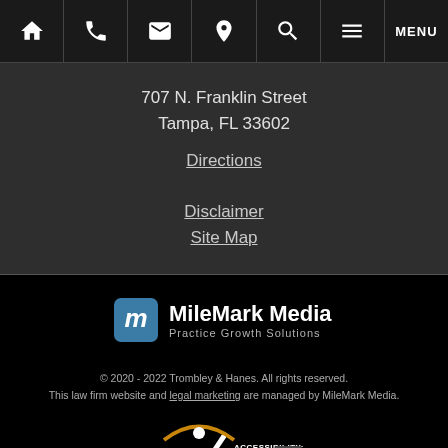[Figure (screenshot): Navigation bar with icons: home, phone, email, location pin, search, hamburger menu, and MENU text]
707 N. Franklin Street
Tampa, FL 33602
Directions
Disclaimer
Site Map
[Figure (logo): MileMark Media logo with checkmark icon and tagline Practice Growth Solutions]
© 2020 - 2022 Trombley & Hanes. All rights reserved.
This law firm website and legal marketing are managed by MileMark Media.
[Figure (logo): Accessibility WCAG 2.1 Level AA badge]